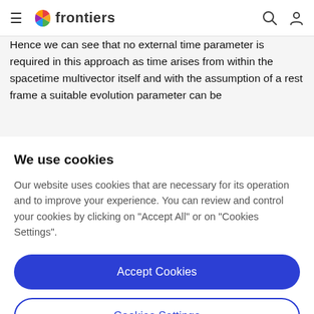frontiers
Hence we can see that no external time parameter is required in this approach as time arises from within the spacetime multivector itself and with the assumption of a rest frame a suitable evolution parameter can be
We use cookies
Our website uses cookies that are necessary for its operation and to improve your experience. You can review and control your cookies by clicking on "Accept All" or on "Cookies Settings".
Accept Cookies
Cookies Settings